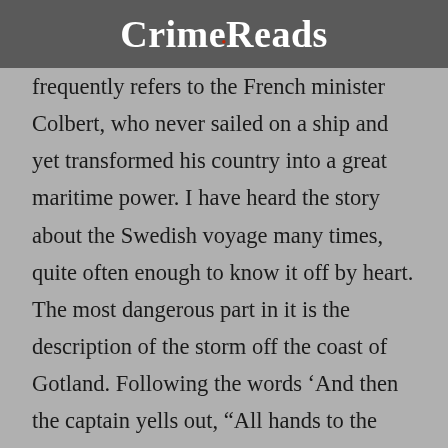CrimeReads
frequently refers to the French minister Colbert, who never sailed on a ship and yet transformed his country into a great maritime power. I have heard the story about the Swedish voyage many times, quite often enough to know it off by heart. The most dangerous part in it is the description of the storm off the coast of Gotland. Following the words ‘And then the captain yells out, “All hands to the pumps’”, His Highness is wont to roll his eyes up and swing his fist down